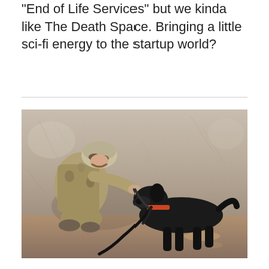“End of Life Services” but we kinda like The Death Space. Bringing a little sci-fi energy to the startup world?
[Figure (photo): A soldier in camouflage military uniform crouching down and nuzzling face-to-face with a black dog on a leash, against a sandy/mud wall background.]